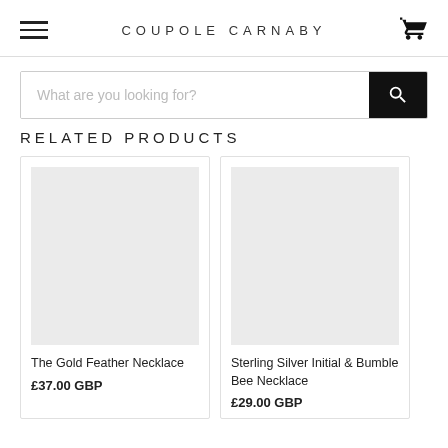COUPOLE CARNABY
What are you looking for?
RELATED PRODUCTS
The Gold Feather Necklace
£37.00 GBP
Sterling Silver Initial & Bumble Bee Necklace
£29.00 GBP